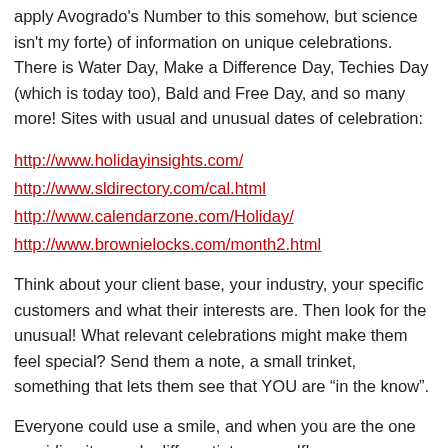apply Avogrado's Number to this somehow, but science isn't my forte) of information on unique celebrations. There is Water Day, Make a Difference Day, Techies Day (which is today too), Bald and Free Day, and so many more! Sites with usual and unusual dates of celebration:
http://www.holidayinsights.com/
http://www.sldirectory.com/cal.html
http://www.calendarzone.com/Holiday/
http://www.brownielocks.com/month2.html
Think about your client base, your industry, your specific customers and what their interests are. Then look for the unusual! What relevant celebrations might make them feel special? Send them a note, a small trinket, something that lets them see that YOU are “in the know”.
Everyone could use a smile, and when you are the one providing it, you do differentiate yourself!
P.S. If you want to send me a note on a special day… July